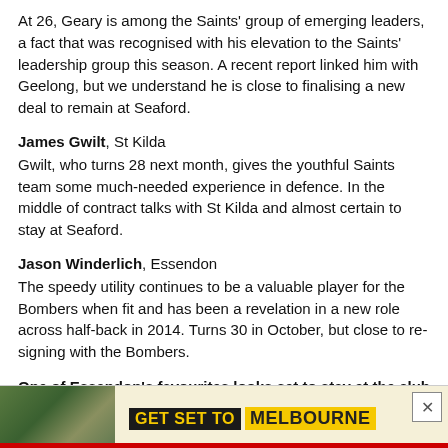At 26, Geary is among the Saints' group of emerging leaders, a fact that was recognised with his elevation to the Saints' leadership group this season. A recent report linked him with Geelong, but we understand he is close to finalising a new deal to remain at Seaford.
James Gwilt, St Kilda
Gwilt, who turns 28 next month, gives the youthful Saints team some much-needed experience in defence. In the middle of contract talks with St Kilda and almost certain to stay at Seaford.
Jason Winderlich, Essendon
The speedy utility continues to be a valuable player for the Bombers when fit and has been a revelation in a new role across half-back in 2014. Turns 30 in October, but close to re-signing with the Bombers.
One of Essendon's favourites looks set to stay at the club next year. Picture: AFL Media
[Figure (photo): Crowd scene at an AFL football match with fans in the stands]
[Figure (infographic): Advertisement banner: GET SET TO MELBOURNE with outdoor photo background]